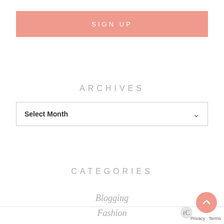SIGN UP
ARCHIVES
Select Month
CATEGORIES
Blogging
Fashion